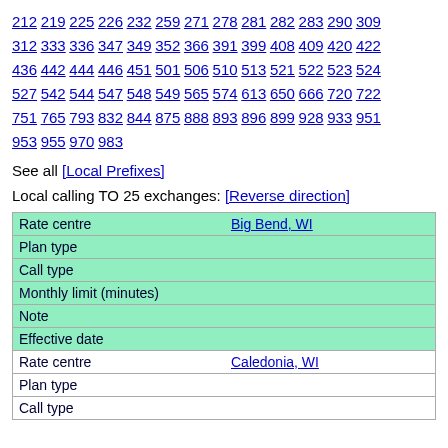212 219 225 226 232 259 271 278 281 282 283 290 309 312 333 336 347 349 352 366 391 399 408 409 420 422 436 442 444 446 451 501 506 510 513 521 522 523 524 527 542 544 547 548 549 565 574 613 650 666 720 722 751 765 793 832 844 875 888 893 896 899 928 933 951 953 955 970 983
See all [Local Prefixes]
Local calling TO 25 exchanges: [Reverse direction]
| Rate centre | Big Bend, WI |
| --- | --- |
| Plan type |  |
| Call type |  |
| Monthly limit (minutes) |  |
| Note |  |
| Effective date |  |
| Rate centre | Caledonia, WI |
| Plan type |  |
| Call type |  |